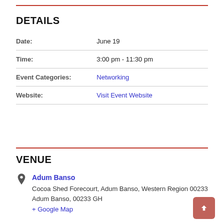DETAILS
| Field | Value |
| --- | --- |
| Date: | June 19 |
| Time: | 3:00 pm - 11:30 pm |
| Event Categories: | Networking |
| Website: | Visit Event Website |
VENUE
Adum Banso
Cocoa Shed Forecourt, Adum Banso, Western Region 00233
Adum Banso, 00233 GH
+ Google Map